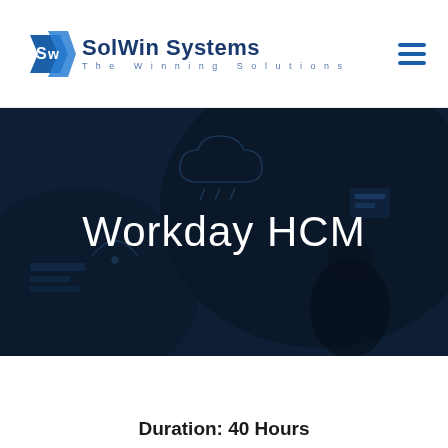[Figure (logo): SolWin Systems logo with blue arrow/chevron graphic and text 'SolWin Systems / The Winning Solutions']
Workday HCM
Duration: 40 Hours